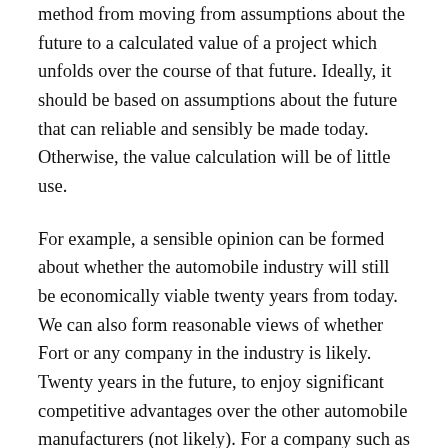method from moving from assumptions about the future to a calculated value of a project which unfolds over the course of that future. Ideally, it should be based on assumptions about the future that can reliable and sensibly be made today. Otherwise, the value calculation will be of little use.
For example, a sensible opinion can be formed about whether the automobile industry will still be economically viable twenty years from today. We can also form reasonable views of whether Fort or any company in the industry is likely. Twenty years in the future, to enjoy significant competitive advantages over the other automobile manufacturers (not likely). For a company such as Microsoft, which does enjoy significant competitive advantages today, we can think reasonable about the chances that